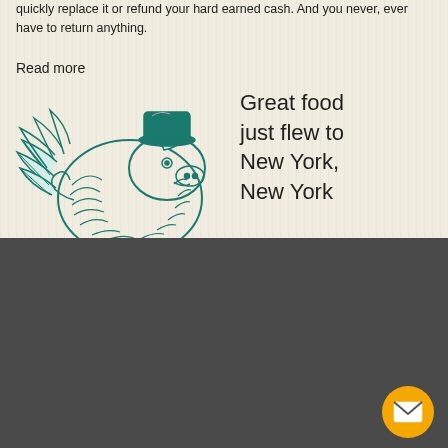quickly replace it or refund your hard earned cash. And you never, ever have to return anything.
Read more
[Figure (illustration): Teal ink illustration of a cartoon pig with wings flying, wearing a hat, drawn in a sketchy style]
Great food just flew to New York, New York
Zingerman's Mail Order is a part of the Zingerman's Community of Businesses. Copyright © 2022 Zing IP, LLC. All rights reserved.
Privacy Policy
Terms
Accessibility
Jobs
Press Inquiries
Gift Cards
E-News
Our Businesses